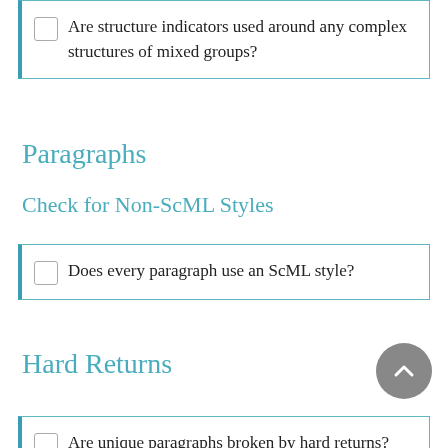Are structure indicators used around any complex structures of mixed groups?
Paragraphs
Check for Non-ScML Styles
Does every paragraph use an ScML style?
Hard Returns
Are unique paragraphs broken by hard returns?